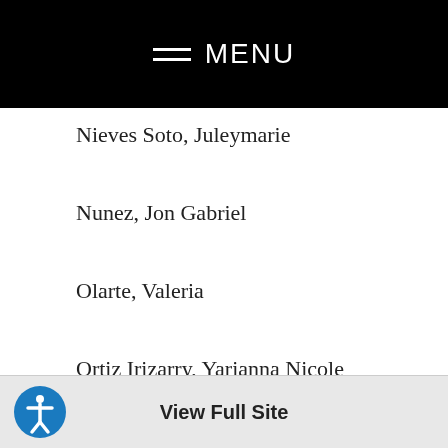MENU
Nieves Soto, Juleymarie	Valencia C
Nunez, Jon Gabriel	University
Olarte, Valeria	Florida In
Ortiz Irizarry, Yarianna Nicole	Stetson U
Pabon, Edwaris	Osceola T
Pacheco, John Michael	University
Florida St
Florida In
Florida St
University
View Full Site